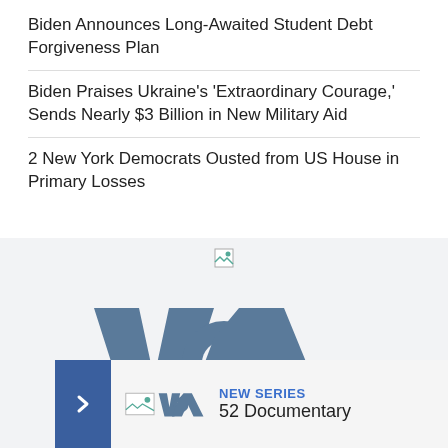Biden Announces Long-Awaited Student Debt Forgiveness Plan
Biden Praises Ukraine's 'Extraordinary Courage,' Sends Nearly $3 Billion in New Military Aid
2 New York Democrats Ousted from US House in Primary Losses
[Figure (logo): VOA (Voice of America) logo displayed large on a light gray background, with a small overlay card at the bottom showing a VOA logo, NEW SERIES label, and '52 Documentary' text]